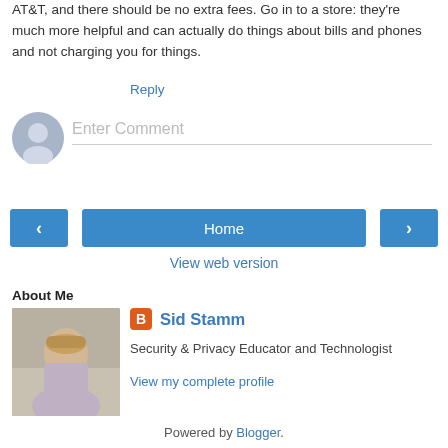AT&T, and there should be no extra fees. Go in to a store: they're much more helpful and can actually do things about bills and phones and not charging you for things.
Reply
[Figure (illustration): Gray user avatar icon circle for comment input area]
Enter Comment
[Figure (infographic): Navigation row with left arrow button, Home button, and right arrow button]
View web version
About Me
[Figure (photo): Profile photo of Sid Stamm, a young man with light hair wearing a purple shirt]
Sid Stamm
Security & Privacy Educator and Technologist
View my complete profile
Powered by Blogger.